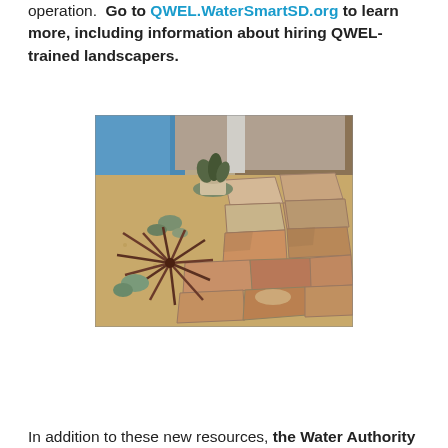operation.  Go to QWEL.WaterSmartSD.org to learn more, including information about hiring QWEL-trained landscapers.
[Figure (photo): A drought-tolerant landscaped patio with flagstone pavers set in decomposed granite, succulents, and a spiky red-leafed plant (dracaena). A potted plant and blue tarp are visible in the background near a wall.]
In addition to these new resources, the Water Authority